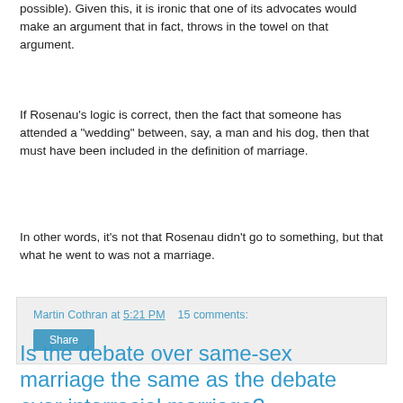possible). Given this, it is ironic that one of its advocates would make an argument that in fact, throws in the towel on that argument.
If Rosenau's logic is correct, then the fact that someone has attended a "wedding" between, say, a man and his dog, then that must have been included in the definition of marriage.
In other words, it's not that Rosenau didn't go to something, but that what he went to was not a marriage.
Martin Cothran at 5:21 PM   15 comments:
Is the debate over same-sex marriage the same as the debate over interracial marriage?